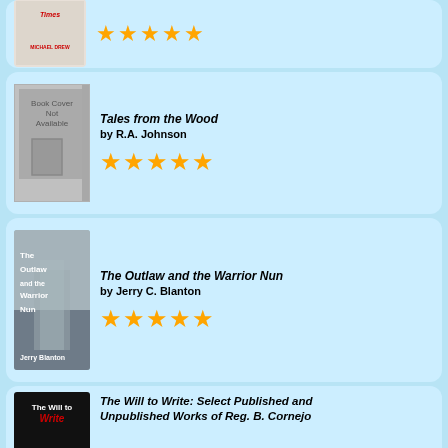[Figure (other): Book listing card (partial/cropped at top): book cover for a Michael Drew title with 5 orange stars rating]
[Figure (other): Book listing card: Tales from the Wood by R.A. Johnson with 5 orange stars rating. Cover shows placeholder image.]
[Figure (other): Book listing card: The Outlaw and the Warrior Nun by Jerry C. Blanton with 5 orange stars rating. Cover shows the book cover image with foggy architecture.]
[Figure (other): Book listing card (partial/cropped at bottom): The Will to Write: Select Published and Unpublished Works of Reg. B. Cornejo. Cover shows dark background with book title in white/red.]